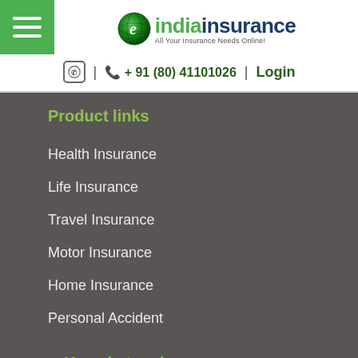[Figure (logo): eIndiaInsurance logo with globe icon and tagline 'All Your Insurance Needs Online!']
| + 91 (80) 41101026 | Login
Product links
Health Insurance
Life Insurance
Travel Insurance
Motor Insurance
Home Insurance
Personal Accident
Keep in touch
Address